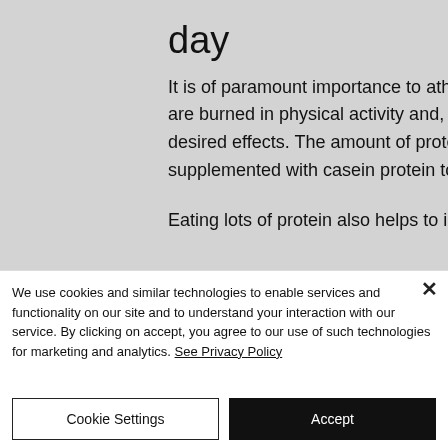day
It is of paramount importance to athletes and bodybuilders as a lot of energy and calories are burned in physical activity and, thus need to be replaced with good proteins to get the desired effects. The amount of protein found in animal sources is lower and should be supplemented with casein protein to bring out the maximum effects.
Eating lots of protein also helps to increase
We use cookies and similar technologies to enable services and functionality on our site and to understand your interaction with our service. By clicking on accept, you agree to our use of such technologies for marketing and analytics. See Privacy Policy
Cookie Settings
Accept